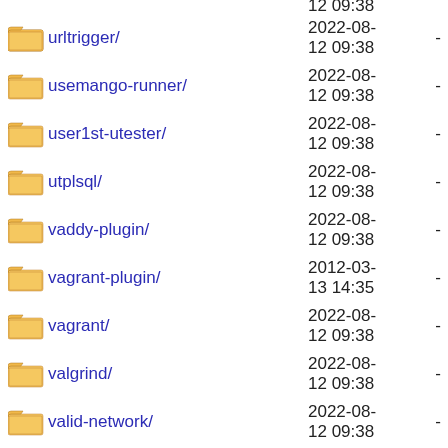urltrigger/ 2022-08-12 09:38 -
usemango-runner/ 2022-08-12 09:38 -
user1st-utester/ 2022-08-12 09:38 -
utplsql/ 2022-08-12 09:38 -
vaddy-plugin/ 2022-08-12 09:38 -
vagrant-plugin/ 2012-03-13 14:35 -
vagrant/ 2022-08-12 09:38 -
valgrind/ 2022-08-12 09:38 -
valid-network/ 2022-08-12 09:38 -
validating-email-parameter/ 2022-08-12 09:38 -
validating-string-parameter/ 2022-08-12 09:38 -